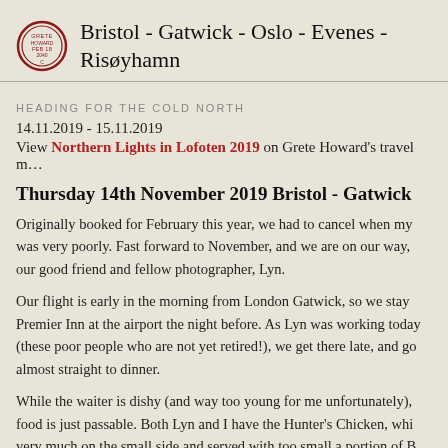Bristol - Gatwick - Oslo - Evenes - Risøyhamn
HEADING FOR THE COLD NORTH
14.11.2019 - 15.11.2019
View Northern Lights in Lofoten 2019 on Grete Howard's travel m…
Thursday 14th November 2019 Bristol - Gatwick
Originally booked for February this year, we had to cancel when my was very poorly. Fast forward to November, and we are on our way, our good friend and fellow photographer, Lyn.
Our flight is early in the morning from London Gatwick, so we stay Premier Inn at the airport the night before. As Lyn was working today (these poor people who are not yet retired!), we get there late, and go almost straight to dinner.
While the waiter is dishy (and way too young for me unfortunately), food is just passable. Both Lyn and I have the Hunter's Chicken, whi very much on the small side and served with too small a portion of B sauce. Never mind, we are having churros for dessert, a firm favourit What a disappointment! They are cold and chewy. We are offered an…